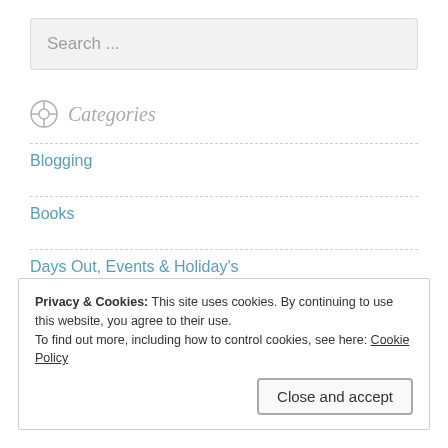Search ...
Categories
Blogging
Books
Days Out, Events & Holiday's
Entertainment
Privacy & Cookies: This site uses cookies. By continuing to use this website, you agree to their use.
To find out more, including how to control cookies, see here: Cookie Policy
Close and accept